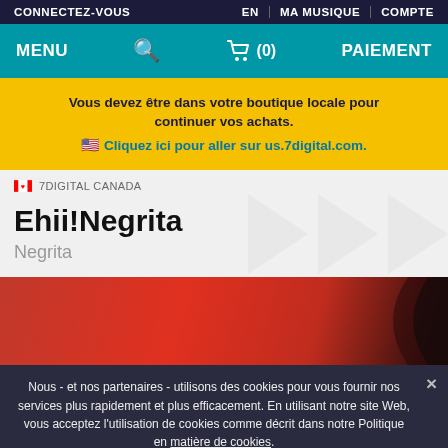CONNECTEZ-VOUS | EN | MA MUSIQUE | COMPTE
MENU | (search) | (cart) (0) | PAIEMENT
Vous devez être dans votre boutique locale pour continuer vos achats.
🇺🇸 Cliquez ici pour aller sur us.7digital.com.
🇨🇦 7DIGITAL CANADA
Ehii!Negrita
Negrita
[Figure (photo): Partial album art with red/dark background]
Nous - et nos partenaires - utilisons des cookies pour vous fournir nos services plus rapidement et plus efficacement. En utilisant notre site Web, vous acceptez l'utilisation de cookies comme décrit dans notre Politique en matière de cookies.